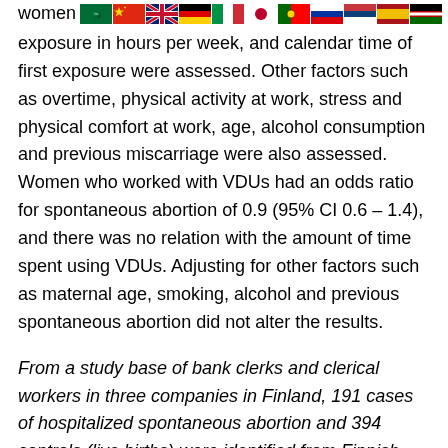[Figure (other): Row of country flag icons (Saudi Arabia, China, UK, Germany, Italy, Japan, Portugal, Russia, Serbia, Spain, Kenya) preceded by the word 'women']
exposure in hours per week, and calendar time of first exposure were assessed. Other factors such as overtime, physical activity at work, stress and physical comfort at work, age, alcohol consumption and previous miscarriage were also assessed. Women who worked with VDUs had an odds ratio for spontaneous abortion of 0.9 (95% CI 0.6 – 1.4), and there was no relation with the amount of time spent using VDUs. Adjusting for other factors such as maternal age, smoking, alcohol and previous spontaneous abortion did not alter the results.
From a study base of bank clerks and clerical workers in three companies in Finland, 191 cases of hospitalized spontaneous abortion and 394 controls (live births) were identified from Finnish medical registers for 1975 to 1985 (Lindbohm et al. 1992). Use of VDUs was defined using workers' reports and company information. Magnetic field strengths were retrospectively assessed in a laboratory setting using a sample of the VDUs which had been used in the companies. The odds